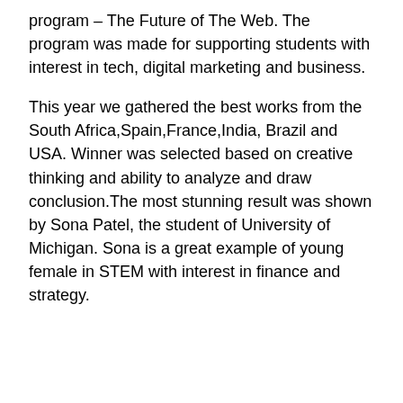program – The Future of The Web. The program was made for supporting students with interest in tech, digital marketing and business.
This year we gathered the best works from the South Africa,Spain,France,India, Brazil and USA. Winner was selected based on creative thinking and ability to analyze and draw conclusion.The most stunning result was shown by Sona Patel, the student of University of Michigan. Sona is a great example of young female in STEM with interest in finance and strategy.